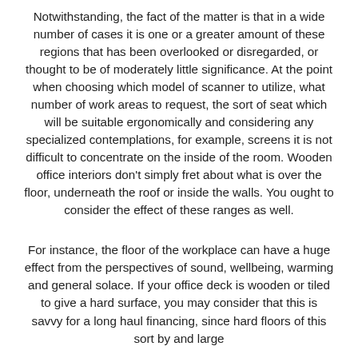Notwithstanding, the fact of the matter is that in a wide number of cases it is one or a greater amount of these regions that has been overlooked or disregarded, or thought to be of moderately little significance. At the point when choosing which model of scanner to utilize, what number of work areas to request, the sort of seat which will be suitable ergonomically and considering any specialized contemplations, for example, screens it is not difficult to concentrate on the inside of the room. Wooden office interiors don't simply fret about what is over the floor, underneath the roof or inside the walls. You ought to consider the effect of these ranges as well.
For instance, the floor of the workplace can have a huge effect from the perspectives of sound, wellbeing, warming and general solace. If your office deck is wooden or tiled to give a hard surface, you may consider that this is savvy for a long haul financing, since hard floors of this sort by and large